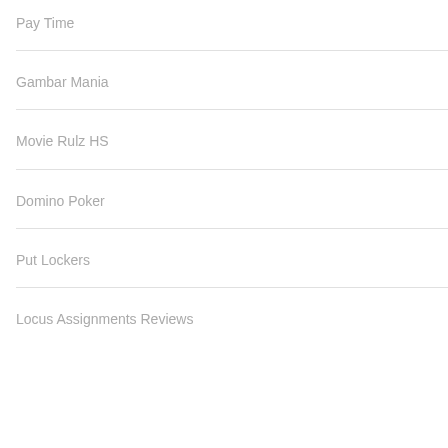Pay Time
Gambar Mania
Movie Rulz HS
Domino Poker
Put Lockers
Locus Assignments Reviews